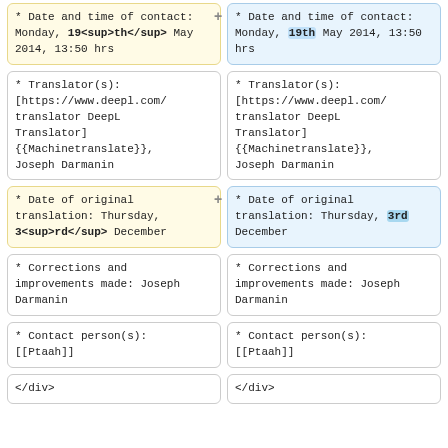* Date and time of contact: Monday, 19th May 2014, 13:50 hrs (left, yellow, with raw sup tag shown)
* Date and time of contact: Monday, 19th May 2014, 13:50 hrs (right, blue, 19th highlighted)
* Translator(s): [https://www.deepl.com/translator DeepL Translator] {{Machinetranslate}}, Joseph Darmanin
* Translator(s): [https://www.deepl.com/translator DeepL Translator] {{Machinetranslate}}, Joseph Darmanin
* Date of original translation: Thursday, 3rd December (left, yellow, with raw sup tag shown)
* Date of original translation: Thursday, 3rd December (right, blue, 3rd highlighted)
* Corrections and improvements made: Joseph Darmanin
* Corrections and improvements made: Joseph Darmanin
* Contact person(s): [[Ptaah]]
* Contact person(s): [[Ptaah]]
</div>
</div>